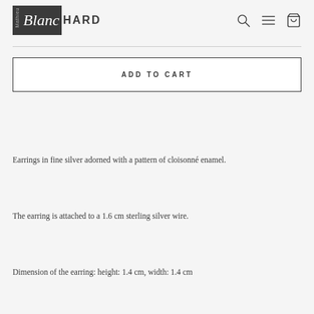Mathieu Blanchard
ADD TO CART
Earrings in fine silver adorned with a pattern of cloisonné enamel.
The earring is attached to a 1.6 cm sterling silver wire.
Dimension of the earring: height: 1.4 cm, width: 1.4 cm